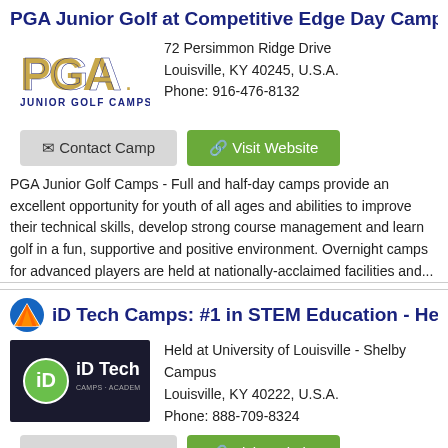PGA Junior Golf at Competitive Edge Day Camp at
[Figure (logo): PGA Junior Golf Camps logo]
72 Persimmon Ridge Drive
Louisville, KY 40245, U.S.A.
Phone: 916-476-8132
Contact Camp   Visit Website
PGA Junior Golf Camps - Full and half-day camps provide an excellent opportunity for youth of all ages and abilities to improve their technical skills, develop strong course management and learn golf in a fun, supportive and positive environment. Overnight camps for advanced players are held at nationally-acclaimed facilities and...
iD Tech Camps: #1 in STEM Education - Held a
[Figure (logo): iD Tech Camps logo]
Held at University of Louisville - Shelby Campus
Louisville, KY 40222, U.S.A.
Phone: 888-709-8324
Contact Camp   Visit Website